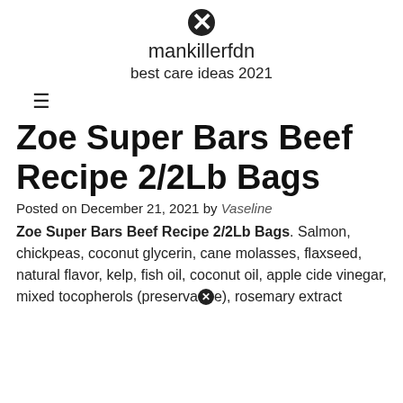mankillerfdn
best care ideas 2021
Zoe Super Bars Beef Recipe 2/2Lb Bags
Posted on December 21, 2021 by Vaseline
Zoe Super Bars Beef Recipe 2/2Lb Bags. Salmon, chickpeas, coconut glycerin, cane molasses, flaxseed, natural flavor, kelp, fish oil, coconut oil, apple cide vinegar, mixed tocopherols (preservative), rosemary extract